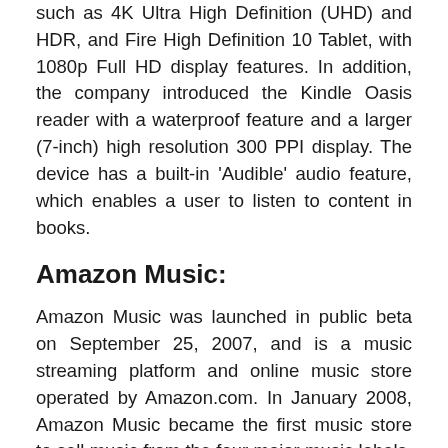such as 4K Ultra High Definition (UHD) and HDR, and Fire High Definition 10 Tablet, with 1080p Full HD display features. In addition, the company introduced the Kindle Oasis reader with a waterproof feature and a larger (7-inch) high resolution 300 PPI display. The device has a built-in 'Audible' audio feature, which enables a user to listen to content in books.
Amazon Music:
Amazon Music was launched in public beta on September 25, 2007, and is a music streaming platform and online music store operated by Amazon.com. In January 2008, Amazon Music became the first music store to sell music from the four major music labels, as well as many independents, without digital rights management. Amazon Music Unlimited is an on-demand, ad-free